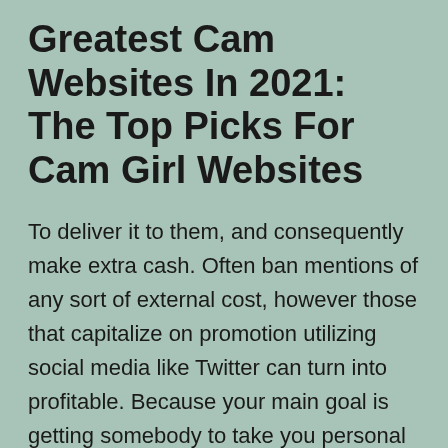Greatest Cam Websites In 2021: The Top Picks For Cam Girl Websites
To deliver it to them, and consequently make extra cash. Often ban mentions of any sort of external cost, however those that capitalize on promotion utilizing social media like Twitter can turn into profitable. Because your main goal is getting somebody to take you personal which might stabilize your revenue. Is usually larger, particularly for many who become free cam sex successful through a distinct segment or their personality and efficiency. It additionally